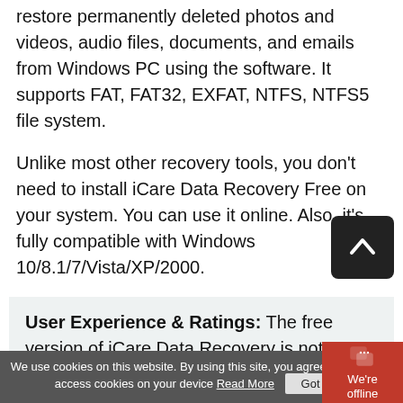restore permanently deleted photos and videos, audio files, documents, and emails from Windows PC using the software. It supports FAT, FAT32, EXFAT, NTFS, NTFS5 file system.
Unlike most other recovery tools, you don't need to install iCare Data Recovery Free on your system. You can use it online. Also, it's fully compatible with Windows 10/8.1/7/Vista/XP/2000.
User Experience & Ratings: The free version of iCare Data Recovery is not always effective in recovering data from formatted or corrupt drives. Based on user experience, Cnet rates the software at 3.5 stars.
We use cookies on this website. By using this site, you agree that we may access cookies on your device Read More  Got it!